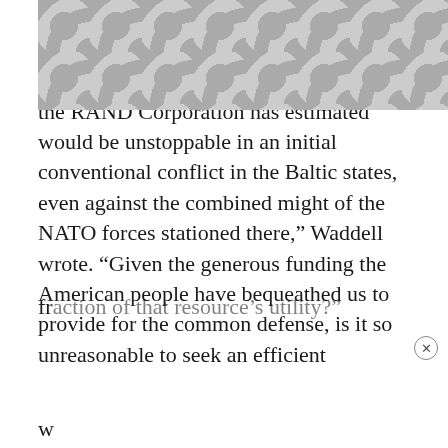success in cyberwarfare.
“This is the same Russian military whom the RAND Corporation has estimated would be unstoppable in an initial conventional conflict in the Baltic states, even against the combined might of the NATO forces stationed there,” Waddell wrote. “Given the generous funding the American people have bequeathed us to provide for the common defense, is it so unreasonable to seek an efficient fr[action of that resource’s utility?]